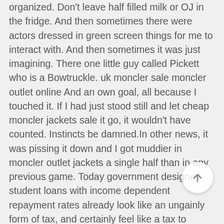organized. Don't leave half filled milk or OJ in the fridge. And then sometimes there were actors dressed in green screen things for me to interact with. And then sometimes it was just imagining. There one little guy called Pickett who is a Bowtruckle. uk moncler sale moncler outlet online And an own goal, all because I touched it. If I had just stood still and let cheap moncler jackets sale it go, it wouldn't have counted. Instincts be damned.In other news, it was pissing it down and I got muddier in moncler outlet jackets a single half than in any previous game. Today government designed student loans with income dependent repayment rates already look like an ungainly form of tax, and certainly feel like a tax to borrowers. Of course, a conversion from a system of tax like loans to an
[Figure (other): A circular scroll-to-top button with an upward arrow icon, positioned in the lower-right area of the page.]